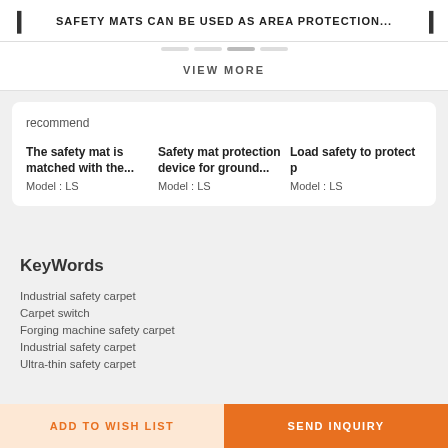SAFETY MATS CAN BE USED AS AREA PROTECTION...
VIEW MORE
recommend
The safety mat is matched with the... Model : LS
Safety mat protection device for ground... Model : LS
Load safety to protect p Model : LS
KeyWords
Industrial safety carpet
Carpet switch
Forging machine safety carpet
Industrial safety carpet
Ultra-thin safety carpet
ADD TO WISH LIST
SEND INQUIRY